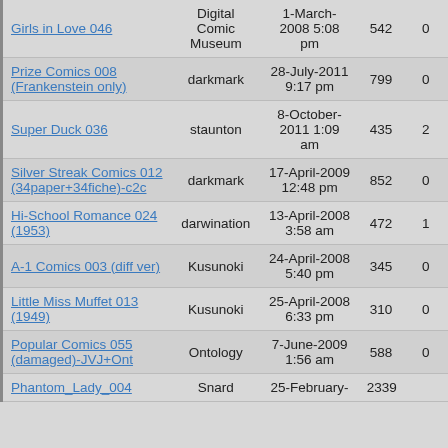| Title | Uploader | Date | Count |  |
| --- | --- | --- | --- | --- |
| Girls in Love 046 | Digital Comic Museum | 1-March-2008 5:08 pm | 542 | 0 |
| Prize Comics 008 (Frankenstein only) | darkmark | 28-July-2011 9:17 pm | 799 | 0 |
| Super Duck 036 | staunton | 8-October-2011 1:09 am | 435 | 2 |
| Silver Streak Comics 012 (34paper+34fiche)-c2c | darkmark | 17-April-2009 12:48 pm | 852 | 0 |
| Hi-School Romance 024 (1953) | darwination | 13-April-2008 3:58 am | 472 | 1 |
| A-1 Comics 003 (diff ver) | Kusunoki | 24-April-2008 5:40 pm | 345 | 0 |
| Little Miss Muffet 013 (1949) | Kusunoki | 25-April-2008 6:33 pm | 310 | 0 |
| Popular Comics 055 (damaged)-JVJ+Ont | Ontology | 7-June-2009 1:56 am | 588 | 0 |
| Phantom_Lady_004 | Snard | 25-February- | 2339 |  |